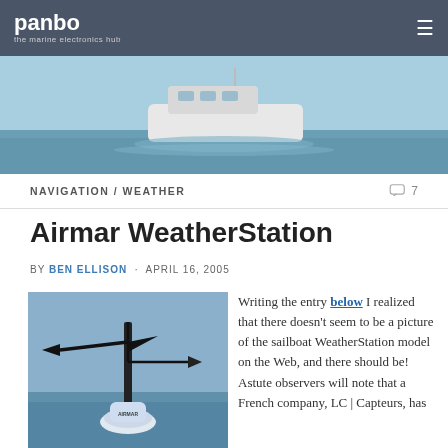panbo – the marine electronics hub
[Figure (photo): Hero image of a white motorboat cruising on calm blue water under a light sky]
NAVIGATION / WEATHER    💬 7
Airmar WeatherStation
BY BEN ELLISON · APRIL 16, 2005
[Figure (photo): Airmar WeatherStation instrument mounted on a pole above a buoy, with wind vane and anemometer arms, against a blue sky background]
Writing the entry below I realized that there doesn't seem to be a picture of the sailboat WeatherStation model on the Web, and there should be! Astute observers will note that a French company, LC | Capteurs, has